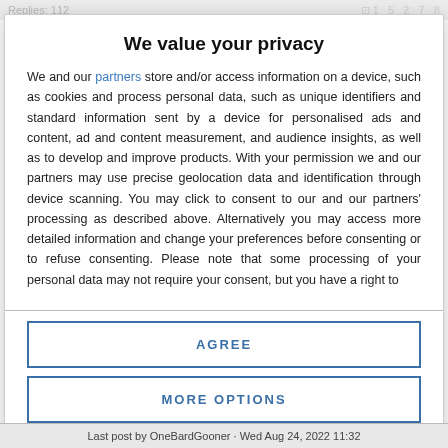Replies: 112
We value your privacy
We and our partners store and/or access information on a device, such as cookies and process personal data, such as unique identifiers and standard information sent by a device for personalised ads and content, ad and content measurement, and audience insights, as well as to develop and improve products. With your permission we and our partners may use precise geolocation data and identification through device scanning. You may click to consent to our and our partners' processing as described above. Alternatively you may access more detailed information and change your preferences before consenting or to refuse consenting. Please note that some processing of your personal data may not require your consent, but you have a right to
AGREE
MORE OPTIONS
Last post by OneBardGooner · Wed Aug 24, 2022 11:32